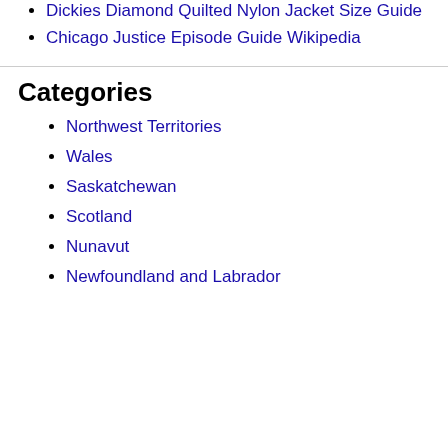Dickies Diamond Quilted Nylon Jacket Size Guide
Chicago Justice Episode Guide Wikipedia
Categories
Northwest Territories
Wales
Saskatchewan
Scotland
Nunavut
Newfoundland and Labrador